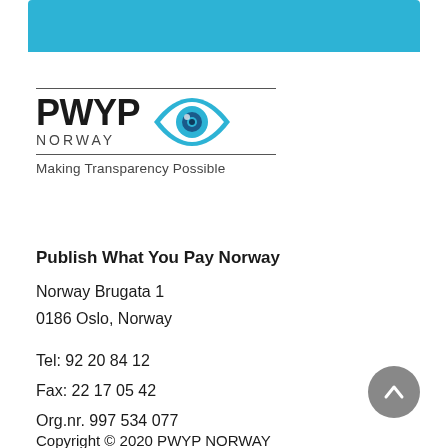[Figure (logo): PWYP Norway logo with eye icon and tagline 'Making Transparency Possible']
Publish What You Pay Norway
Norway Brugata 1
0186 Oslo, Norway
Tel: 92 20 84 12
Fax: 22 17 05 42
Org.nr. 997 534 077
Copyright © 2020 PWYP NORWAY